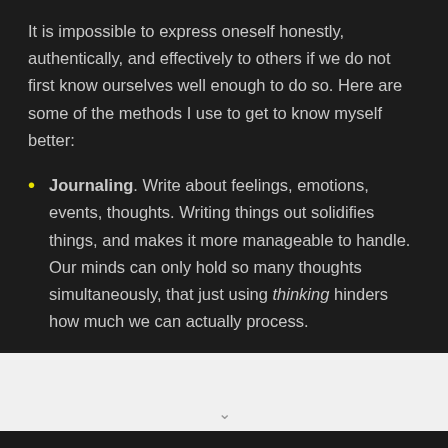It is impossible to express oneself honestly, authentically, and effectively to others if we do not first know ourselves well enough to do so. Here are some of the methods I use to get to know myself better:
Journaling. Write about feelings, emotions, events, thoughts. Writing things out solidifies things, and makes it more manageable to handle. Our minds can only hold so many thoughts simultaneously, that just using thinking hinders how much we can actually process.